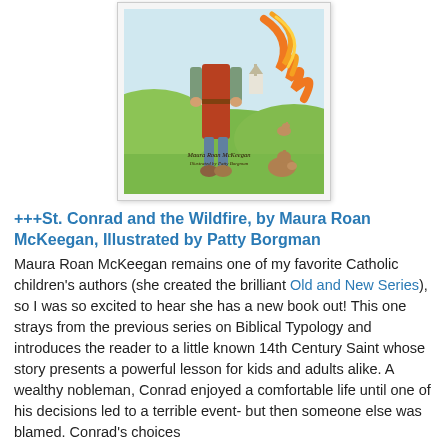[Figure (illustration): Book cover illustration for 'St. Conrad and the Wildfire' showing a medieval figure standing in a green landscape with a fiery swirl and rabbits, with text 'Maura Roan McKeegan' and 'Illustrated by Patty Borgman']
+++St. Conrad and the Wildfire, by Maura Roan McKeegan, Illustrated by Patty Borgman
Maura Roan McKeegan remains one of my favorite Catholic children's authors (she created the brilliant Old and New Series), so I was so excited to hear she has a new book out! This one strays from the previous series on Biblical Typology and introduces the reader to a little known 14th Century Saint whose story presents a powerful lesson for kids and adults alike. A wealthy nobleman, Conrad enjoyed a comfortable life until one of his decisions led to a terrible event- but then someone else was blamed. Conrad's choices